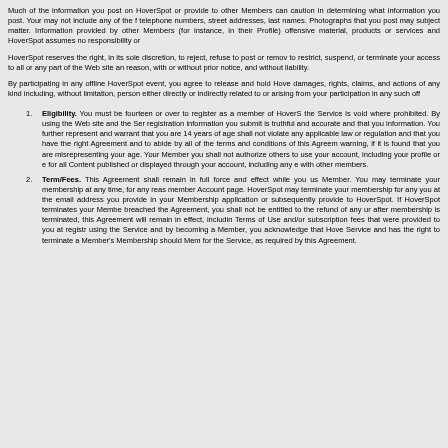Much of the information you post on HoverSpot or provide to other Members can caution in determining what information you post. Your may not include any of the f telephone numbers, street addresses, last names. Photographs that you post may subject matter. Information provided by other Members (for instance, in their Profile) offensive material, products or services and HoverSpot assumes no responsibility or
HoverSpot reserves the right, in its sole discretion, to reject, refuse to post or remov to restrict, suspend, or terminate your access to all or any part of the Web site an reason, with or without prior notice, and without liability.
By participating in any offline HoverSpot event, you agree to release and hold Hove damages, rights, claims, and actions of any kind including, without limitation, person either directly or indirectly related to or arising from your participation in any such off
Eligibility. You must be fourteen or over to register as a member of HoverS the Service is void where prohibited. By using the Web site and the Ser registration information you submit is truthful and accurate and that you information. You further represent and warrant that you are 14 years of age shall not violate any applicable law or regulation and that you have the right Agreement and to abide by all of the terms and conditions of this Agreem warning, if it is found that you are misrepresenting your age. Your Member you shall not authorize others to use your account, including your profile or e for all Content published or displayed through your account, including any e with other members.
Term/Fees. This Agreement shall remain in full force and effect while you us Member. You may terminate your membership at any time, for any reas member Account page. HoverSpot may terminate your membership for any you at the email address you provide in your Membership application or subsequently provide to HoverSpot. If HoverSpot terminates your Membe breached the Agreement, you shall not be entitled to the refund of any ur after membership is terminated, this Agreement will remain in effect, includin Terms of Use and/or subscription fees that were provided to you at registr using the Service and by becoming a Member, you acknowledge that Hove Service and has the right to terminate a Member's Membership should Mem for the Service, as required by this Agreement.